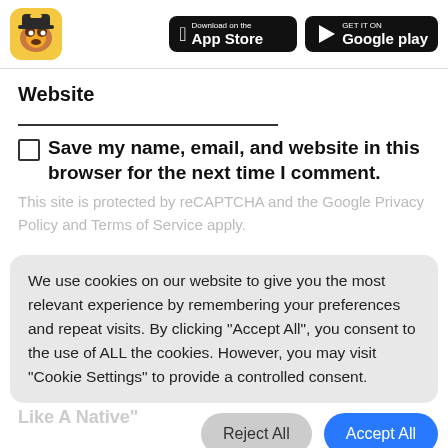[Figure (logo): App logo: cartoon monkey character with hat]
[Figure (screenshot): App Store download button (black, Apple logo)]
[Figure (screenshot): Google Play download button (black, play triangle logo)]
Website
Save my name, email, and website in this browser for the next time I comment.
This site is protected by reCAPTCHA and the Google Privacy Policy and Terms of Service apply.
We use cookies on our website to give you the most relevant experience by remembering your preferences and repeat visits. By clicking “Accept All”, you consent to the use of ALL the cookies. However, you may visit “Cookie Settings” to provide a controlled consent.
2 comments on “No In Thai: 4 Ways To Say No Like A Native”
Reject All
Accept All